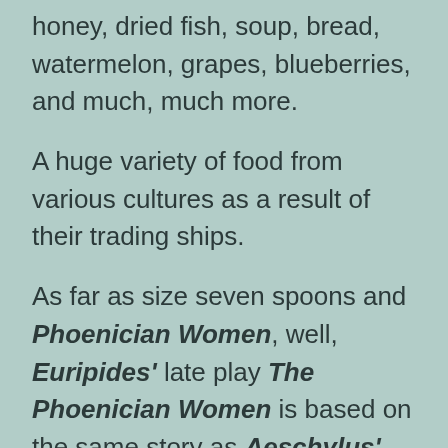honey, dried fish, soup, bread, watermelon, grapes, blueberries, and much, much more.
A huge variety of food from various cultures as a result of their trading ships.
As far as size seven spoons and Phoenician Women, well, Euripides' late play The Phoenician Women is based on the same story as Aeschylus' early tragedy, Seven Against Thebes. The play begins with a monologue by Jocasta, the queen of Thebes, in which she sums up the story of her son and husband, Oedipus, and the couple's two sons.